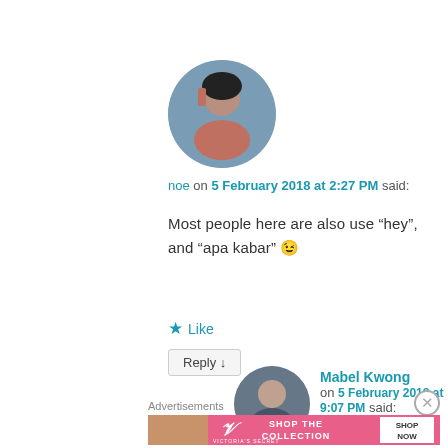[Figure (photo): Circular avatar photo of a person wearing a dark outfit against a blue-sky/water background]
noe on 5 February 2018 at 2:27 PM said:
Most people here are also use “hey”, and “apa kabar” 😉
★ Like
Reply ↓
[Figure (photo): Circular avatar photo of Mabel Kwong]
Mabel Kwong on 5 February 2018 at 9:07 PM said:
Advertisements
[Figure (photo): Victoria's Secret advertisement banner: SHOP THE COLLECTION - SHOP NOW]